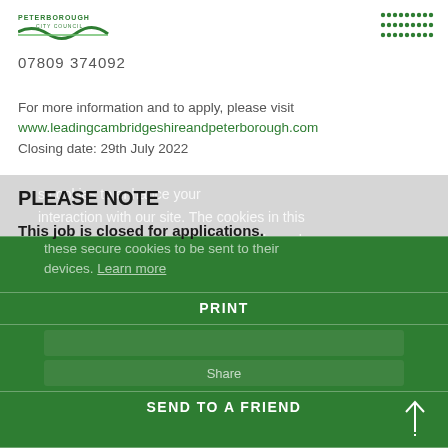[Figure (logo): Peterborough City Council logo top left]
07809 374092
For more information and to apply, please visit www.leadingcambridgeshireandpeterborough.com
Closing date: 29th July 2022
PLEASE NOTE
This job is closed for applications.
PRINT
Share
SEND TO A FRIEND